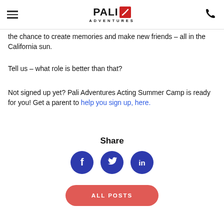PALI ADVENTURES
the chance to create memories and make new friends – all in the California sun.
Tell us – what role is better than that?
Not signed up yet?  Pali Adventures Acting Summer Camp is ready for you! Get a parent to help you sign up, here.
Share
[Figure (infographic): Three social media share buttons: Facebook (f), Twitter (bird), LinkedIn (in), all in dark blue circles]
[Figure (other): ALL POSTS button in rounded red/coral rectangle]